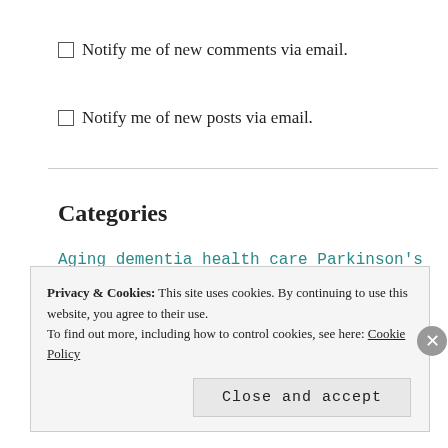☐ Notify me of new comments via email.
☐ Notify me of new posts via email.
Categories
Aging  dementia  health care  Parkinson's disease  Uncategorized
Privacy & Cookies: This site uses cookies. By continuing to use this website, you agree to their use. To find out more, including how to control cookies, see here: Cookie Policy
Close and accept